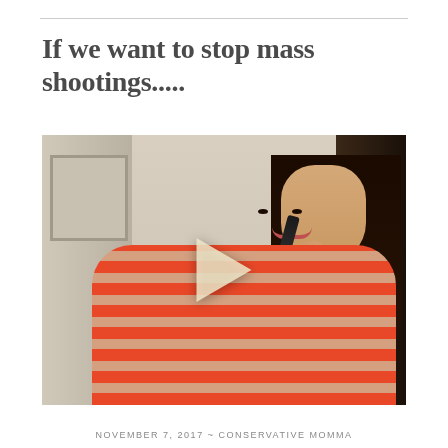If we want to stop mass shootings.....
[Figure (photo): Video thumbnail showing a woman in an orange striped shirt smiling and holding a gun, with a play button overlay in the center.]
NOVEMBER 7, 2017 ~ CONSERVATIVE MOMMA